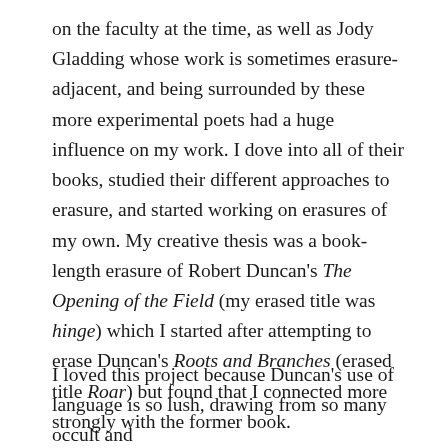on the faculty at the time, as well as Jody Gladding whose work is sometimes erasure-adjacent, and being surrounded by these more experimental poets had a huge influence on my work. I dove into all of their books, studied their different approaches to erasure, and started working on erasures of my own. My creative thesis was a book-length erasure of Robert Duncan's The Opening of the Field (my erased title was hinge) which I started after attempting to erase Duncan's Roots and Branches (erased title Roar) but found that I connected more strongly with the former book.
I loved this project because Duncan's use of language is so lush, drawing from so many occult and